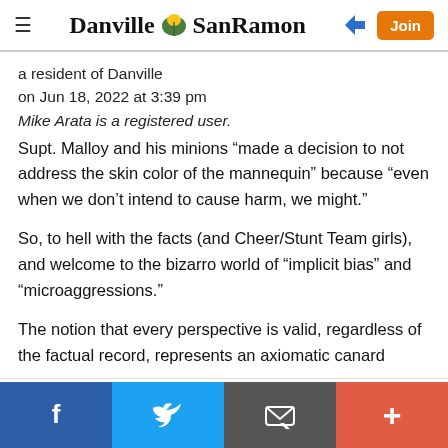Danville SanRamon
a resident of Danville
on Jun 18, 2022 at 3:39 pm
Mike Arata is a registered user.
Supt. Malloy and his minions “made a decision to not address the skin color of the mannequin” because “even when we don’t intend to cause harm, we might.”
So, to hell with the facts (and Cheer/Stunt Team girls), and welcome to the bizarro world of “implicit bias” and “microaggressions.”
The notion that every perspective is valid, regardless of the factual record, represents an axiomatic canard